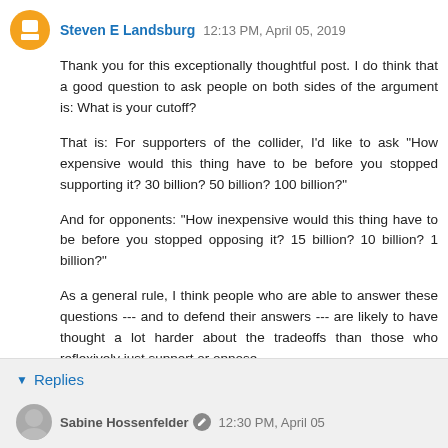Steven E Landsburg  12:13 PM, April 05, 2019
Thank you for this exceptionally thoughtful post. I do think that a good question to ask people on both sides of the argument is: What is your cutoff?
That is: For supporters of the collider, I'd like to ask "How expensive would this thing have to be before you stopped supporting it? 30 billion? 50 billion? 100 billion?"
And for opponents: "How inexpensive would this thing have to be before you stopped opposing it? 15 billion? 10 billion? 1 billion?"
As a general rule, I think people who are able to answer these questions --- and to defend their answers --- are likely to have thought a lot harder about the tradeoffs than those who reflexively just support or oppose.
Reply
Replies
Sabine Hossenfelder  12:30 PM, April 05